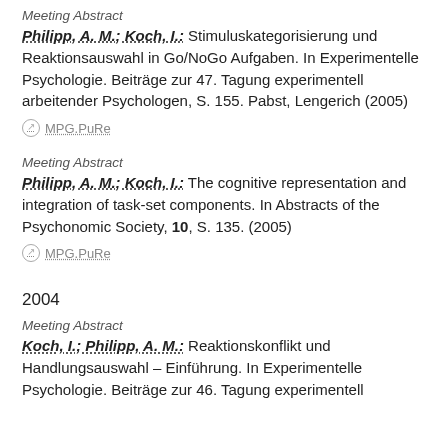Meeting Abstract
Philipp, A. M.; Koch, I.: Stimuluskategorisierung und Reaktionsauswahl in Go/NoGo Aufgaben. In Experimentelle Psychologie. Beiträge zur 47. Tagung experimentell arbeitender Psychologen, S. 155. Pabst, Lengerich (2005)
MPG.PuRe
Meeting Abstract
Philipp, A. M.; Koch, I.: The cognitive representation and integration of task-set components. In Abstracts of the Psychonomic Society, 10, S. 135. (2005)
MPG.PuRe
2004
Meeting Abstract
Koch, I.; Philipp, A. M.: Reaktionskonflikt und Handlungsauswahl – Einführung. In Experimentelle Psychologie. Beiträge zur 46. Tagung experimentell